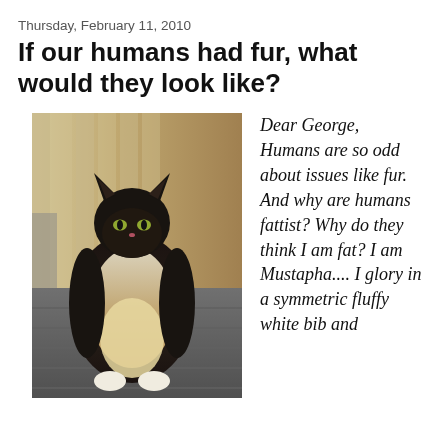Thursday, February 11, 2010
If our humans had fur, what would they look like?
[Figure (photo): A large fluffy black and white/tawny cat sitting upright on a wooden deck, facing the camera with yellow-green eyes and a prominent white and orange chest/bib.]
Dear George, Humans are so odd about issues like fur. And why are humans fattist? Why do they think I am fat? I am Mustapha.... I glory in a symmetric fluffy white bib and